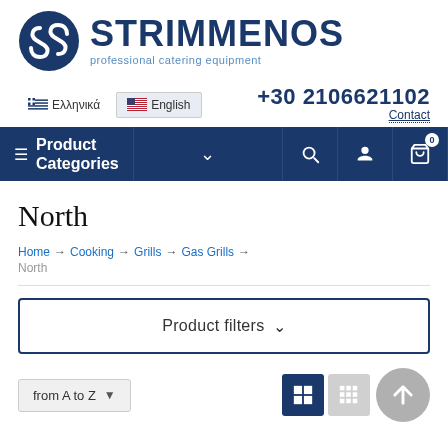[Figure (logo): Strimmenos professional catering equipment logo with blue S emblem and text]
+30 2106621102
Ελληνικά  English
Contact
≡ Product Categories
North
Home → Cooking → Grills → Gas Grills → North
Product filters ∨
from A to Z ▼